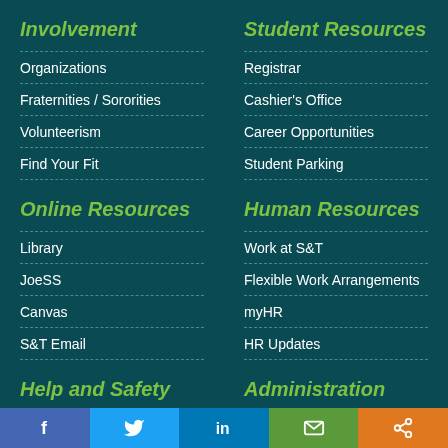Involvement
Organizations
Fraternities / Sororities
Volunteerism
Find Your Fit
Online Resources
Library
JoeSS
Canvas
S&T Email
Help and Safety
Student Resources
Registrar
Cashier's Office
Career Opportunities
Student Parking
Human Resources
Work at S&T
Flexible Work Arrangements
myHR
HR Updates
Administration